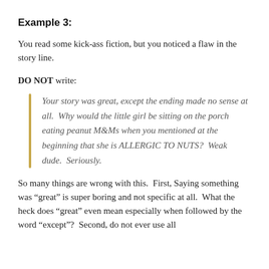Example 3:
You read some kick-ass fiction, but you noticed a flaw in the story line.
DO NOT write:
Your story was great, except the ending made no sense at all.  Why would the little girl be sitting on the porch eating peanut M&Ms when you mentioned at the beginning that she is ALLERGIC TO NUTS?  Weak dude.  Seriously.
So many things are wrong with this.  First, Saying something was “great” is super boring and not specific at all.  What the heck does “great” even mean especially when followed by the word “except”?  Second, do not ever use all